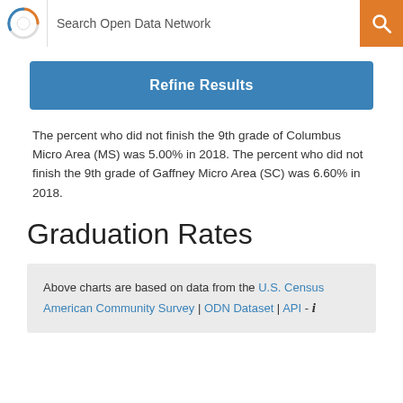Search Open Data Network
Refine Results
The percent who did not finish the 9th grade of Columbus Micro Area (MS) was 5.00% in 2018. The percent who did not finish the 9th grade of Gaffney Micro Area (SC) was 6.60% in 2018.
Graduation Rates
Above charts are based on data from the U.S. Census American Community Survey | ODN Dataset | API -